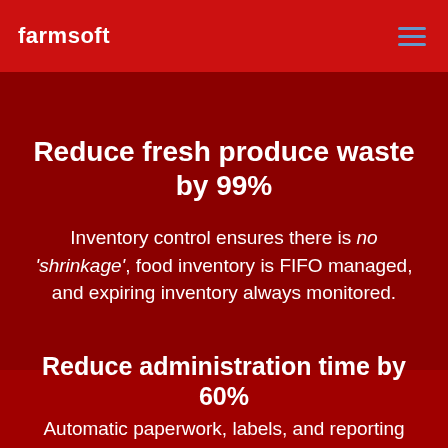farmsoft
Reduce fresh produce waste by 99%
Inventory control ensures there is no 'shrinkage', food inventory is FIFO managed, and expiring inventory always monitored.
Reduce administration time by 60%
Automatic paperwork, labels, and reporting